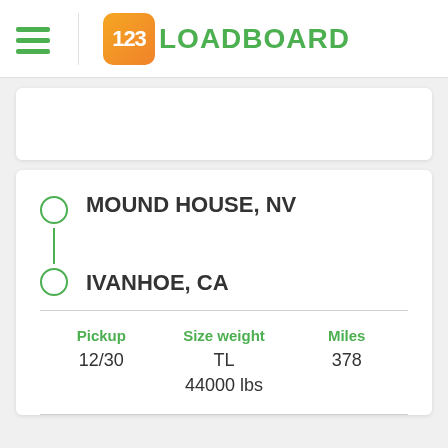[Figure (logo): 123Loadboard logo with hamburger menu icon]
MOUND HOUSE, NV
IVANHOE, CA
| Pickup | Size weight | Miles |
| --- | --- | --- |
| 12/30 | TL
44000 lbs | 378 |